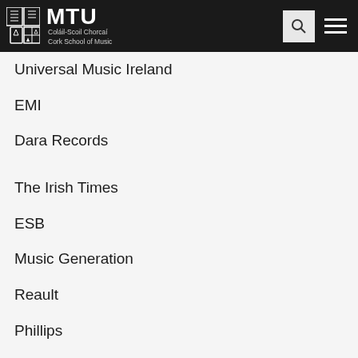MTU Cork School of Music
Universal Music Ireland
EMI
Dara Records
The Irish Times
ESB
Music Generation
Reault
Phillips
Irish Ferries
02
M...USA